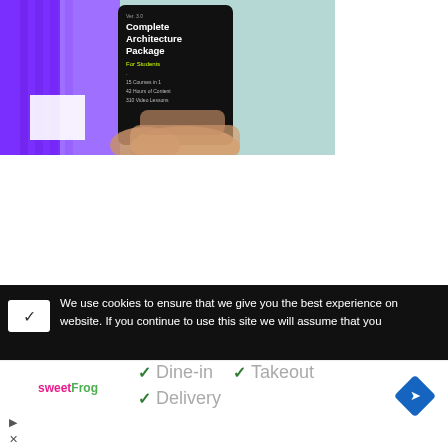[Figure (photo): Hands holding a tablet displaying 'Complete Architecture Package For Students' course bundle with purple and teal background]
We use cookies to ensure that we give you the best experience on website. If you continue to use this site we will assume that you
✓ Dine-in  ✓ Takeout  ✓ Delivery
[Figure (logo): sweetFrog logo in pink and green]
[Figure (other): Blue diamond navigation arrow icon]